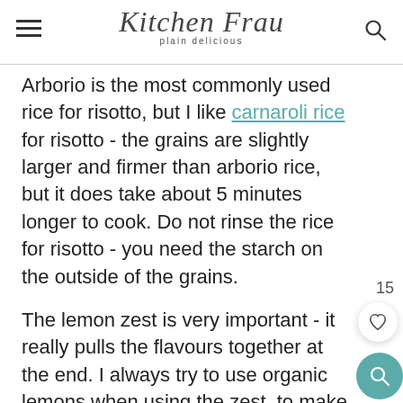Kitchen Frau - plain delicious
Arborio is the most commonly used rice for risotto, but I like carnaroli rice for risotto - the grains are slightly larger and firmer than arborio rice, but it does take about 5 minutes longer to cook. Do not rinse the rice for risotto - you need the starch on the outside of the grains.
The lemon zest is very important - it really pulls the flavours together at the end. I always try to use organic lemons when using the zest, to make sure it is toxin-free.